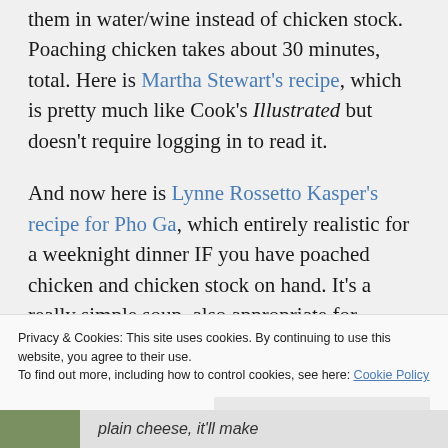them in water/wine instead of chicken stock. Poaching chicken takes about 30 minutes, total. Here is Martha Stewart's recipe, which is pretty much like Cook's Illustrated but doesn't require logging in to read it.
And now here is Lynne Rossetto Kasper's recipe for Pho Ga, which entirely realistic for a weeknight dinner IF you have poached chicken and chicken stock on hand. It's a really simple soup, also appropriate for breakfast (!), that should please
Privacy & Cookies: This site uses cookies. By continuing to use this website, you agree to their use.
To find out more, including how to control cookies, see here: Cookie Policy
Close and accept
plain cheese, it'll make